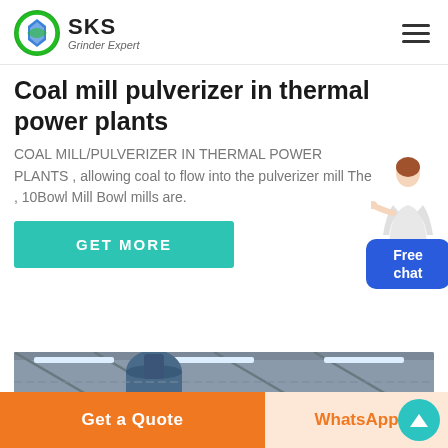SKS Grinder Expert
Coal mill pulverizer in thermal power plants
COAL MILL/PULVERIZER IN THERMAL POWER PLANTS , allowing coal to flow into the pulverizer mill The , 10Bowl Mill Bowl mills are.
[Figure (screenshot): GET MORE teal button]
[Figure (photo): Industrial interior photo showing machinery with blue cylindrical ducts and metal roof structure with fluorescent lighting]
[Figure (illustration): Female customer service representative pointing, with blue Free chat bubble]
Get a Quote | WhatsApp